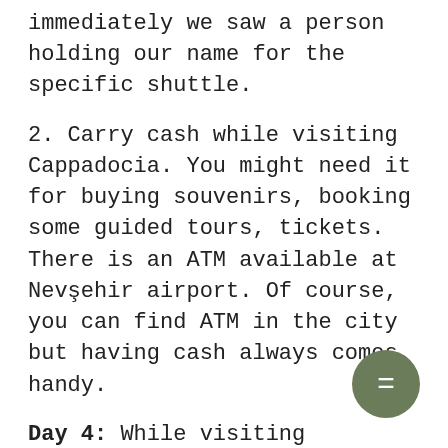immediately we saw a person holding our name for the specific shuttle.
2. Carry cash while visiting Cappadocia. You might need it for buying souvenirs, booking some guided tours, tickets. There is an ATM available at Nevşehir airport. Of course, you can find ATM in the city but having cash always comes handy.
Day 4: While visiting Cappadocia, I recommend to stay at Cave hotel. There are plenty of cave hotels available and they are not so expensive. You can also find many affordable options. But the expe... of staying a cave with all modern amenities is amazing. I also found that
[Figure (other): Circular chat/message button with speech bubble icon in olive/dark green color]